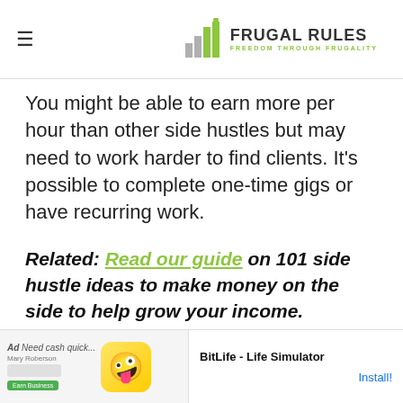FRUGAL RULES — FREEDOM THROUGH FRUGALITY
You might be able to earn more per hour than other side hustles but may need to work harder to find clients. It's possible to complete one-time gigs or have recurring work.
Related: Read our guide on 101 side hustle ideas to make money on the side to help grow your income.
Many part-time freelancers earn several hundred...
[Figure (screenshot): Ad banner for BitLife - Life Simulator with Install button]